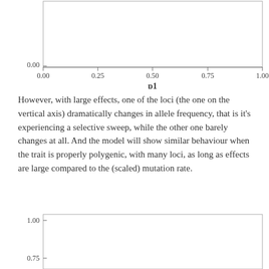[Figure (continuous-plot): Bottom portion of a scatter/line plot with x-axis labeled p1 ranging from 0.00 to 1.00, y-axis showing 0.00. Plot area is mostly blank/white with axis lines.]
However, with large effects, one of the loci (the one on the vertical axis) dramatically changes in allele frequency, that is it's experiencing a selective sweep, while the other one barely changes at all. And the model will show similar behaviour when the trait is properly polygenic, with many loci, as long as effects are large compared to the (scaled) mutation rate.
[Figure (continuous-plot): Top portion of a second scatter/line plot with y-axis showing values 0.75 and 1.00. Plot area is mostly blank/white.]